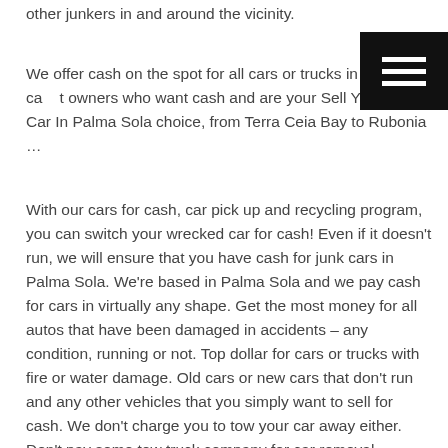other junkers in and around the vicinity.
[Figure (other): Hamburger menu button icon (three white horizontal lines on black background), positioned top-right of page]
We offer cash on the spot for all cars or trucks in Florida car owners who want cash and are your Sell Your Junk Car In Palma Sola choice, from Terra Ceia Bay to Rubonia …
With our cars for cash, car pick up and recycling program, you can switch your wrecked car for cash! Even if it doesn't run, we will ensure that you have cash for junk cars in Palma Sola. We're based in Palma Sola and we pay cash for cars in virtually any shape. Get the most money for all autos that have been damaged in accidents – any condition, running or not. Top dollar for cars or trucks with fire or water damage. Old cars or new cars that don't run and any other vehicles that you simply want to sell for cash. We don't charge you to tow your car away either. Don't pay some tow truck company for car removal services! Sell junk new or used cars for cash with us! We provide free tow-away services for old cars that are junk, so you won't need to pay somebody to get rid of that old auto; we pay you cash for your car! We make it very simple. Just contact us at the phone number posted on this website. Our specialized car buying experts